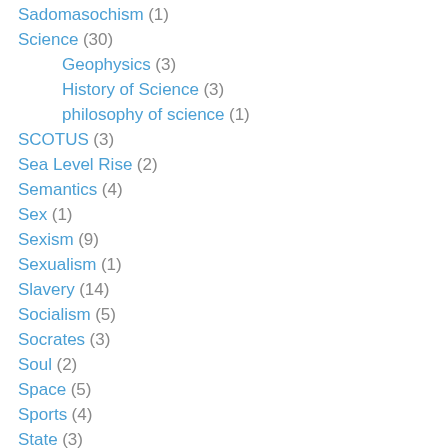Sadomasochism (1)
Science (30)
Geophysics (3)
History of Science (3)
philosophy of science (1)
SCOTUS (3)
Sea Level Rise (2)
Semantics (4)
Sex (1)
Sexism (9)
Sexualism (1)
Slavery (14)
Socialism (5)
Socrates (3)
Soul (2)
Space (5)
Sports (4)
State (3)
Stoicism (8)
Stoicism (?)